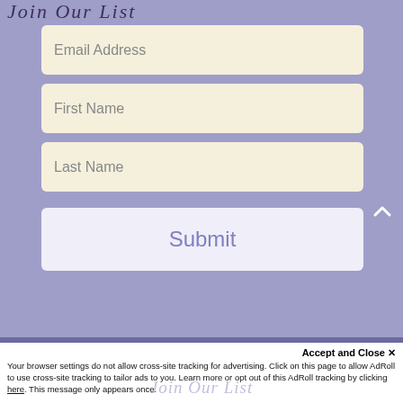Join Our List
Email Address
First Name
Last Name
Submit
Accept and Close ✕
Your browser settings do not allow cross-site tracking for advertising. Click on this page to allow AdRoll to use cross-site tracking to tailor ads to you. Learn more or opt out of this AdRoll tracking by clicking here. This message only appears once.